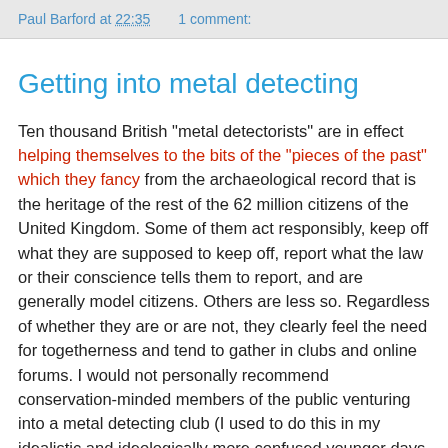Paul Barford at 22:35   1 comment:
Getting into metal detecting
Ten thousand British "metal detectorists" are in effect helping themselves to the bits of the "pieces of the past" which they fancy from the archaeological record that is the heritage of the rest of the 62 million citizens of the United Kingdom. Some of them act responsibly, keep off what they are supposed to keep off, report what the law or their conscience tells them to report, and are generally model citizens. Others are less so. Regardless of whether they are or are not, they clearly feel the need for togetherness and tend to gather in clubs and online forums. I would not personally recommend conservation-minded members of the public venturing into a metal detecting club (I used to do this in my idealistic and ideologically more confused younger days - a most depressing experience which taught me a lot about this milieu). The online forums and media on the other hand are clearly an ideal opportunity to find out what these people are up to. One can look over the shoulder and hear the voice...